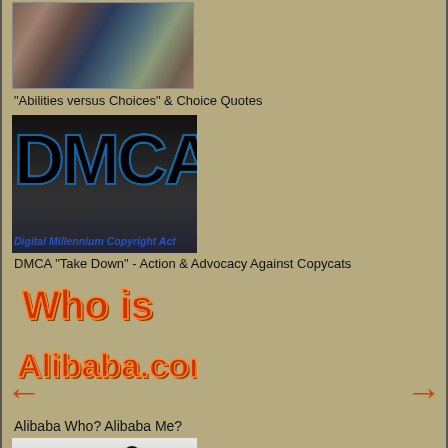[Figure (photo): Partial photo of an animal (appears to be a bird or mammal) with blue/teal coloring visible]
"Abilities versus Choices" & Choice Quotes
[Figure (other): DMCA Digital Millennium Copyright Act logo with collage of people inside letters]
DMCA "Take Down" - Action & Advocacy Against Copycats
[Figure (other): Who is Alibaba.com? text graphic in orange/red with textured lettering]
Alibaba Who? Alibaba Me?
[Figure (photo): Silhouette of a dancer/figure with arms outstretched above the word CRAFT]
Selling Craft Before Its Time
[Figure (other): Partial image at bottom of page, partially cut off]